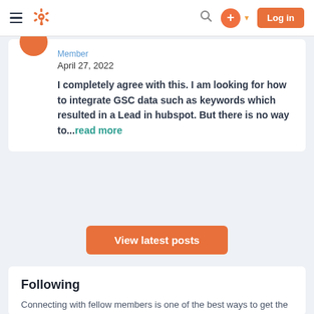HubSpot community navigation bar with hamburger menu, HubSpot logo, search icon, plus button, and Log in button
Member
April 27, 2022
I completely agree with this. I am looking for how to integrate GSC data such as keywords which resulted in a Lead in hubspot. But there is no way to...read more
View latest posts
Following
Connecting with fellow members is one of the best ways to get the most out of your experience. Here are some folks